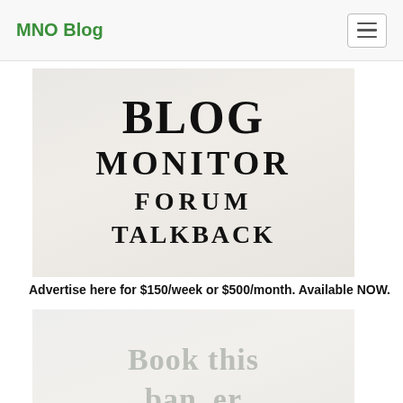MNO Blog
[Figure (illustration): Blog Monitor Forum Talkback banner image with light beige/gray textured background]
Advertise here for $150/week or $500/month. Available NOW.
[Figure (illustration): Book this banner spot now! text with cursor hand icon overlay on light gray textured background]